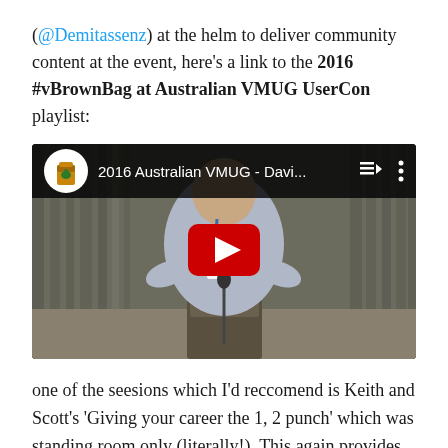(@Demitassenz) at the helm to deliver community content at the event, here's a link to the 2016 #vBrownBag at Australian VMUG UserCon playlist:
[Figure (screenshot): Embedded YouTube video thumbnail showing a man presenting at a podium in front of curtains. The video title reads '2016 Australian VMUG - Davi...' with a red YouTube play button overlaid in the center.]
one of the seesions which I'd reccomend is Keith and Scott's 'Giving your career the 1, 2 punch' which was standing room only (literally!).  This again provides insight